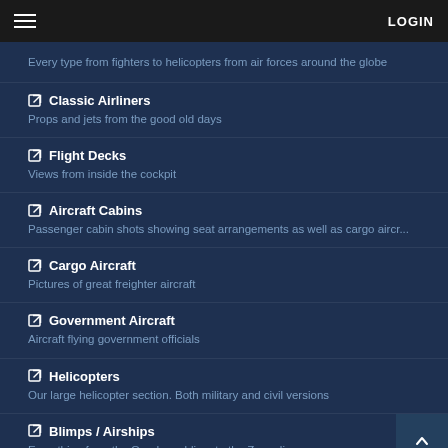LOGIN
Every type from fighters to helicopters from air forces around the globe
Classic Airliners
Props and jets from the good old days
Flight Decks
Views from inside the cockpit
Aircraft Cabins
Passenger cabin shots showing seat arrangements as well as cargo aircr...
Cargo Aircraft
Pictures of great freighter aircraft
Government Aircraft
Aircraft flying government officials
Helicopters
Our large helicopter section. Both military and civil versions
Blimps / Airships
Everything from the Goodyear blimp to the Zeppelin
Night Photos
Beautiful shots taken while the sun is below the horizon.